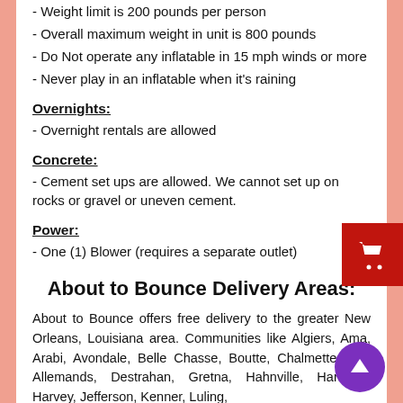- Weight limit is 200 pounds per person
- Overall maximum weight in unit is 800 pounds
- Do Not operate any inflatable in 15 mph winds or more
- Never play in an inflatable when it's raining
Overnights:
- Overnight rentals are allowed
Concrete:
- Cement set ups are allowed. We cannot set up on rocks or gravel or uneven cement.
Power:
- One (1) Blower (requires a separate outlet)
About to Bounce Delivery Areas:
About to Bounce offers free delivery to the greater New Orleans, Louisiana area. Communities like Algiers, Ama, Arabi, Avondale, Belle Chasse, Boutte, Chalmette, Des Allemands, Destrahan, Gretna, Hahnville, Harahan, Harvey, Jefferson, Kenner, Luling,